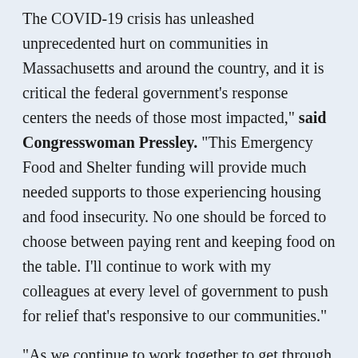The COVID-19 crisis has unleashed unprecedented hurt on communities in Massachusetts and around the country, and it is critical the federal government's response centers the needs of those most impacted," said Congresswoman Pressley. "This Emergency Food and Shelter funding will provide much needed supports to those experiencing housing and food insecurity. No one should be forced to choose between paying rent and keeping food on the table. I'll continue to work with my colleagues at every level of government to push for relief that's responsive to our communities."
"As we continue to work together to get through this public health crisis, we must ensure that no one, especially those who are most at-risk of losing their home or going hungry, is left behind. This emergency food and